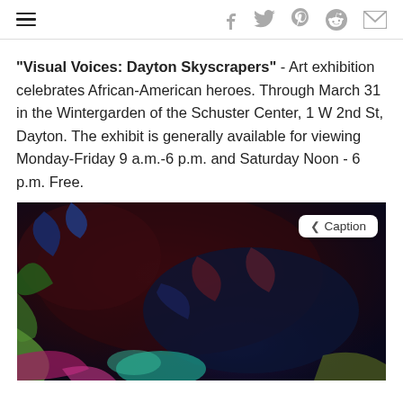hamburger menu icon, social share icons: Facebook, Twitter, Pinterest, Reddit, Email
“Visual Voices: Dayton Skyscrapers” - Art exhibition celebrates African-American heroes. Through March 31 in the Wintergarden of the Schuster Center, 1 W 2nd St, Dayton. The exhibit is generally available for viewing Monday-Friday 9 a.m.-6 p.m. and Saturday Noon - 6 p.m. Free.
[Figure (photo): Abstract colorful painting with dark maroon and navy blue tones, accents of green, pink, teal, and blue brushstrokes — artwork from the Visual Voices: Dayton Skyscrapers exhibition. A white rounded-rectangle button labeled '< Caption' appears in the upper right of the image.]